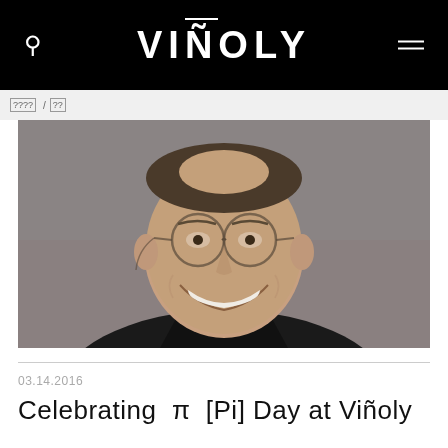VIÑOLY
???? / ??
[Figure (photo): Portrait photo of a smiling man wearing glasses and a dark blazer over a black turtleneck, photographed against a gray background.]
03.14.2016
Celebrating π [Pi] Day at Viñoly